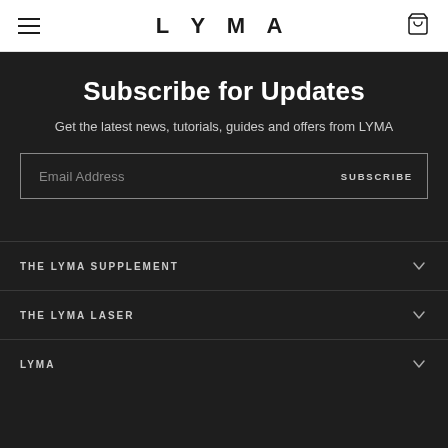LYMA
Subscribe for Updates
Get the latest news, tutorials, guides and offers from LYMA
Email Address  SUBSCRIBE
THE LYMA SUPPLEMENT
THE LYMA LASER
LYMA